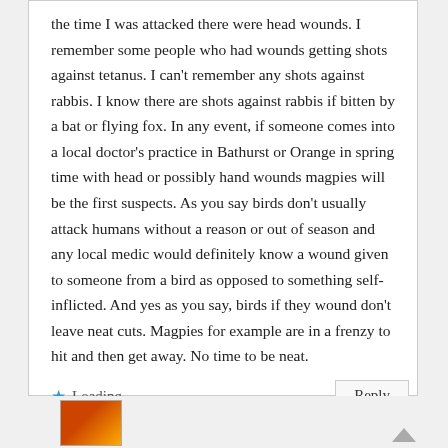the time I was attacked there were head wounds. I remember some people who had wounds getting shots against tetanus. I can't remember any shots against rabbis. I know there are shots against rabbis if bitten by a bat or flying fox. In any event, if someone comes into a local doctor's practice in Bathurst or Orange in spring time with head or possibly hand wounds magpies will be the first suspects. As you say birds don't usually attack humans without a reason or out of season and any local medic would definitely know a wound given to someone from a bird as opposed to something self-inflicted. And yes as you say, birds if they wound don't leave neat cuts. Magpies for example are in a frenzy to hit and then get away. No time to be neat.
Loading...